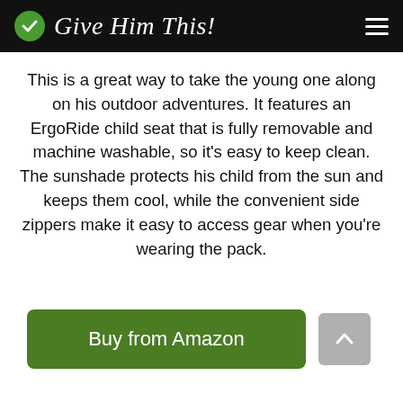Give Him This!
This is a great way to take the young one along on his outdoor adventures. It features an ErgoRide child seat that is fully removable and machine washable, so it's easy to keep clean. The sunshade protects his child from the sun and keeps them cool, while the convenient side zippers make it easy to access gear when you're wearing the pack.
Buy from Amazon